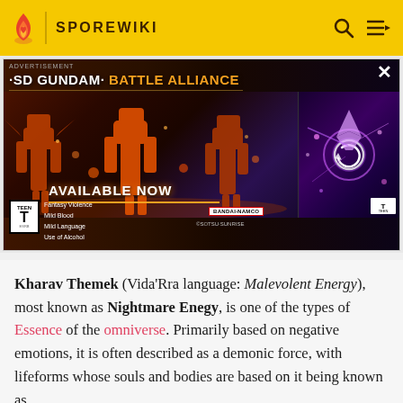SPOREWIKI
[Figure (screenshot): Advertisement banner for SD Gundam Battle Alliance game, showing robots/mechs, 'AVAILABLE NOW' text, ESRB Teen rating, Bandai Namco logo, close button]
Kharav Themek (Vida'Rra language: Malevolent Energy), most known as Nightmare Enegy, is one of the types of Essence of the omniverse. Primarily based on negative emotions, it is often described as a demonic force, with lifeforms whose souls and bodies are based on it being known as